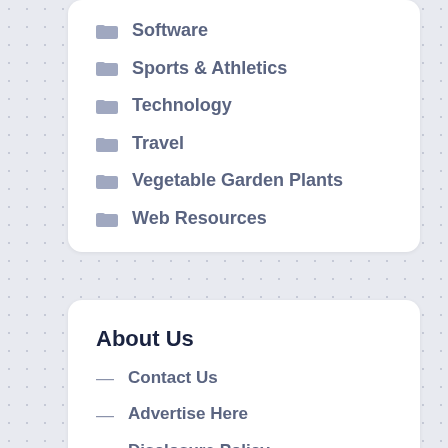Software
Sports & Athletics
Technology
Travel
Vegetable Garden Plants
Web Resources
About Us
Contact Us
Advertise Here
Disclosure Policy